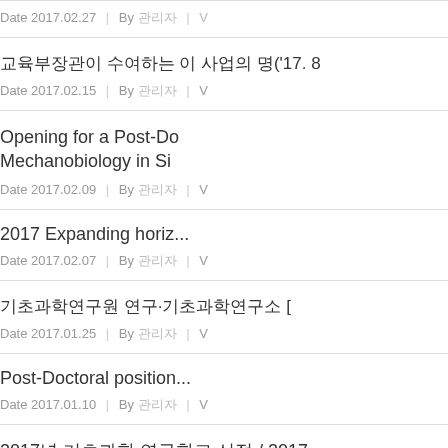Date 2017.02.27 | By 관리자 | V
교육부장관이 수여하는 이 사업의 명('17. 8 ...
Date 2017.02.15 | By 관리자 | V
Opening for a Post-Doctoral position in Mechanobiology in Si...
Date 2017.02.09 | By 관리자 | V
2017 Expanding horiz...
Date 2017.02.07 | By 관리자 | V
기초과학연구원 연구·기초과학연구소 [
Date 2017.01.25 | By 관리자 | V
Post-Doctoral position...
Date 2017.01.10 | By 관리자 | V
2017년 기초과학 연구학교 선정 / 2017...
Date 2017.01.09 | By 관리자 | V